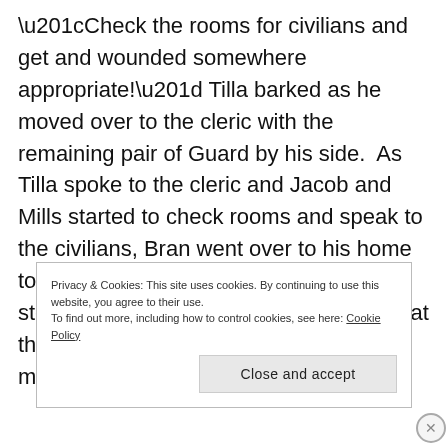“Check the rooms for civilians and get and wounded somewhere appropriate!” Tilla barked as he moved over to the cleric with the remaining pair of Guard by his side.  As Tilla spoke to the cleric and Jacob and Mills started to check rooms and speak to the civilians, Bran went over to his home to find the door completely gone.  As he stepped through some debris he looked at the familiar setting that he had left this morning.
Privacy & Cookies: This site uses cookies. By continuing to use this website, you agree to their use.
To find out more, including how to control cookies, see here: Cookie Policy
Close and accept